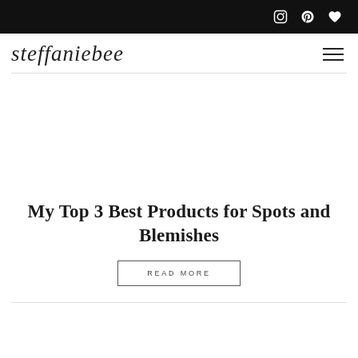Top bar with social icons (Instagram, Pinterest, Bloglovin)
[Figure (logo): steffaniebee blog logo in cursive/script font with hamburger menu icon on right]
My Top 3 Best Products for Spots and Blemishes
READ MORE